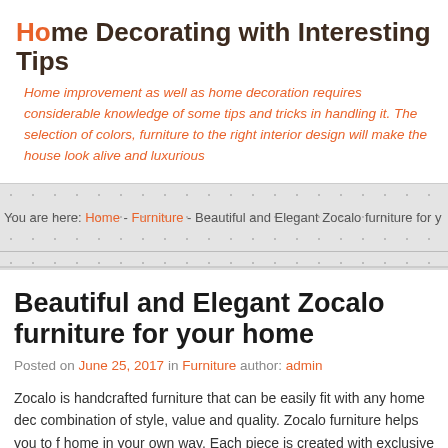Home Decorating with Interesting Tips
Home improvement as well as home decoration requires considerable knowledge of some tips and tricks in handling it. The selection of colors, furniture to the right interior design will make the house look alive and luxurious
You are here: Home - Furniture - Beautiful and Elegant Zocalo furniture for y
Beautiful and Elegant Zocalo furniture for your home
Posted on June 25, 2017 in Furniture author: admin
Zocalo is handcrafted furniture that can be easily fit with any home decoration, combination of style, value and quality. Zocalo furniture helps you to furnish your home in your own way. Each piece is created with exclusive designs and offers something new to furnish your home.